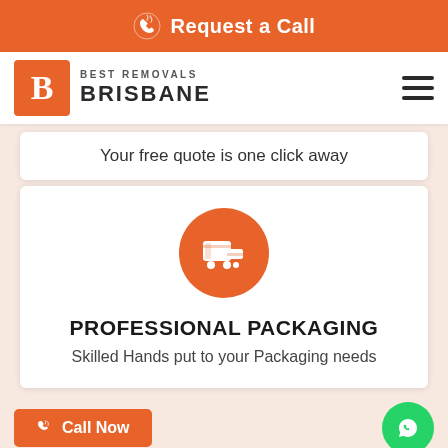Request a Call
[Figure (logo): Best Removals Brisbane logo with orange B icon and brand name]
Your free quote is one click away
[Figure (illustration): Orange circle with white delivery/cart icon representing Professional Packaging service]
PROFESSIONAL PACKAGING
Skilled Hands put to your Packaging needs
[Figure (illustration): Call Now button and WhatsApp green circle button]
[Figure (illustration): Partially visible orange globe icon at bottom]